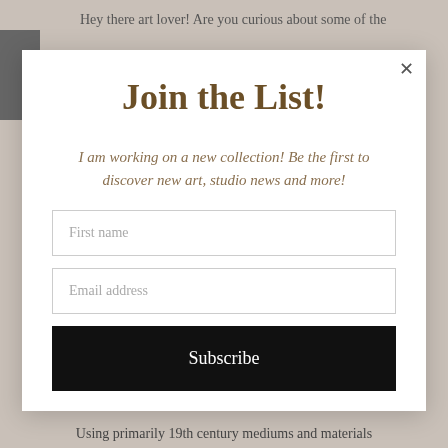Hey there art lover! Are you curious about some of the
[Figure (screenshot): Email signup modal popup with title 'Join the List!', a subtitle about a new collection, first name and email address input fields, and a Subscribe button with a close (X) button in the top right corner.]
Using primarily 19th century mediums and materials